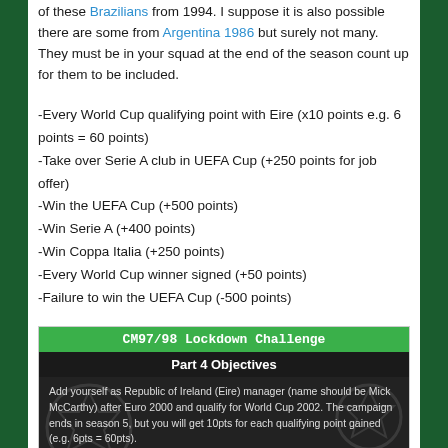of these Brazilians from 1994. I suppose it is also possible there are some from Argentina 1986 but surely not many. They must be in your squad at the end of the season count up for them to be included.
-Every World Cup qualifying point with Eire (x10 points e.g. 6 points = 60 points)
-Take over Serie A club in UEFA Cup (+250 points for job offer)
-Win the UEFA Cup (+500 points)
-Win Serie A (+400 points)
-Win Coppa Italia (+250 points)
-Every World Cup winner signed (+50 points)
-Failure to win the UEFA Cup (-500 points)
[Figure (infographic): CM97/98 Lockdown Challenge infographic image showing Part 4 Objectives with text about Republic of Ireland manager challenge and Serie A team objectives, overlaid on a soccer celebration photo background.]